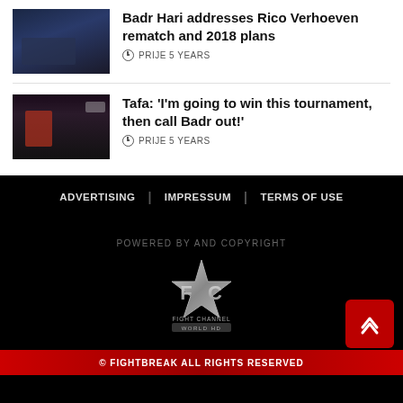Badr Hari addresses Rico Verhoeven rematch and 2018 plans
PRIJE 5 YEARS
Tafa: 'I'm going to win this tournament, then call Badr out!'
PRIJE 5 YEARS
ADVERTISING | IMPRESSUM | TERMS OF USE
POWERED BY AND COPYRIGHT
[Figure (logo): Fight Channel World HD logo with metallic star and FC letters]
© FIGHTBREAK ALL RIGHTS RESERVED